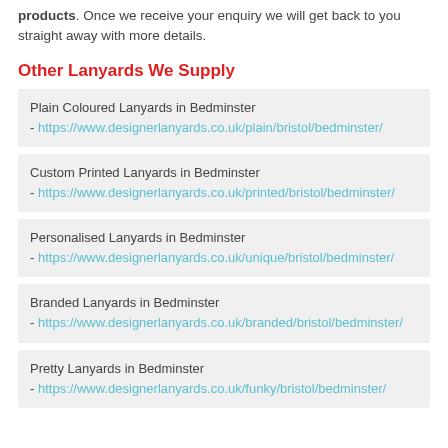products. Once we receive your enquiry we will get back to you straight away with more details.
Other Lanyards We Supply
Plain Coloured Lanyards in Bedminster - https://www.designerlanyards.co.uk/plain/bristol/bedminster/
Custom Printed Lanyards in Bedminster - https://www.designerlanyards.co.uk/printed/bristol/bedminster/
Personalised Lanyards in Bedminster - https://www.designerlanyards.co.uk/unique/bristol/bedminster/
Branded Lanyards in Bedminster - https://www.designerlanyards.co.uk/branded/bristol/bedminster/
Pretty Lanyards in Bedminster - https://www.designerlanyards.co.uk/funky/bristol/bedminster/